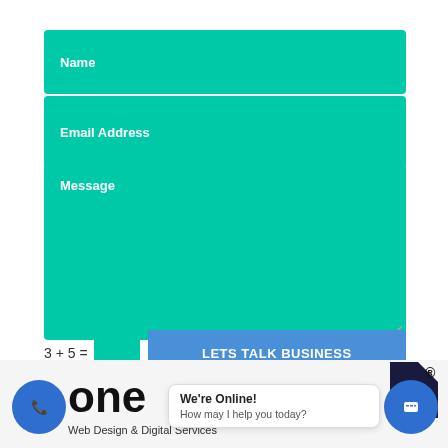Name
Email Address
Message
3 + 5 =
LETS TALK BUSINESS
We're Online! How may I help you today?
Web Design & Digital Services